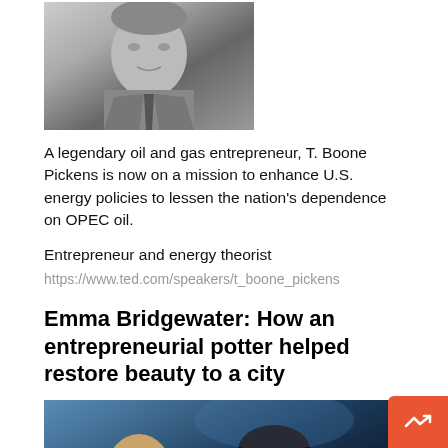[Figure (photo): Black and white portrait photo of T. Boone Pickens, a man in a suit and tie]
A legendary oil and gas entrepreneur, T. Boone Pickens is now on a mission to enhance U.S. energy policies to lessen the nation's dependence on OPEC oil.
Entrepreneur and energy theorist
https://www.ted.com/speakers/t_boone_pickens
Emma Bridgewater: How an entrepreneurial potter helped restore beauty to a city
[Figure (photo): Color photo of Emma Bridgewater on stage, a woman with dark hair in a floral dress, with another person partially visible]
At 23-years-old, Emma Bridgewater boldly launched her new ceramic company in Stoke-on-Trent, a city with rich ceramic traditions but a present that resembled Detroit. She tapped the dwindling yet still vibrant reservoir of skills and tradition